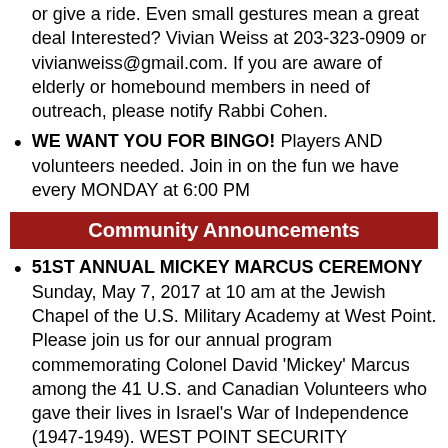or give a ride. Even small gestures mean a great deal Interested? Vivian Weiss at 203-323-0909 or vivianweiss@gmail.com. If you are aware of elderly or homebound members in need of outreach, please notify Rabbi Cohen.
WE WANT YOU FOR BINGO! Players AND volunteers needed. Join in on the fun we have every MONDAY at 6:00 PM
Community Announcements
51ST ANNUAL MICKEY MARCUS CEREMONY Sunday, May 7, 2017 at 10 am at the Jewish Chapel of the U.S. Military Academy at West Point. Please join us for our annual program commemorating Colonel David 'Mickey' Marcus among the 41 U.S. and Canadian Volunteers who gave their lives in Israel's War of Independence (1947-1949). WEST POINT SECURITY REQUIRES A GOVERNMENT-ISSUED PHOTO ID AT THE GATE. For more info, visit www.israelvets.com/2